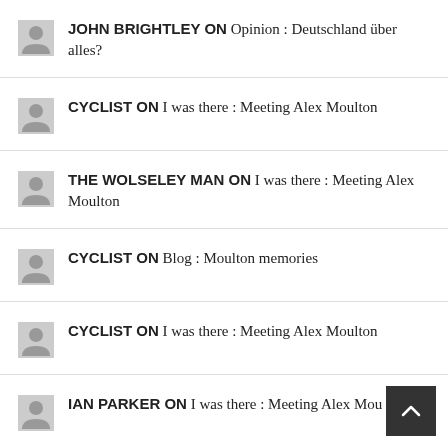JOHN BRIGHTLEY ON Opinion : Deutschland über alles?
CYCLIST ON I was there : Meeting Alex Moulton
THE WOLSELEY MAN ON I was there : Meeting Alex Moulton
CYCLIST ON Blog : Moulton memories
CYCLIST ON I was there : Meeting Alex Moulton
IAN PARKER ON I was there : Meeting Alex Mou